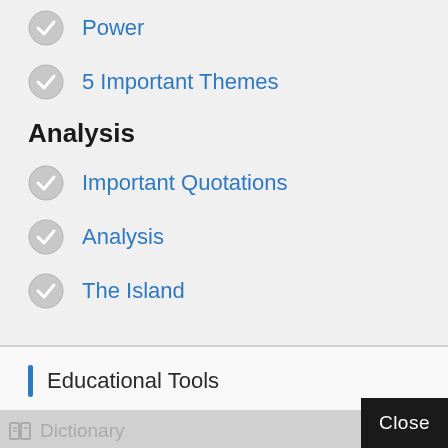Power
5 Important Themes
Analysis
Important Quotations
Analysis
The Island
Educational Tools
Article Rewriter
Citation Generator
Dictionary